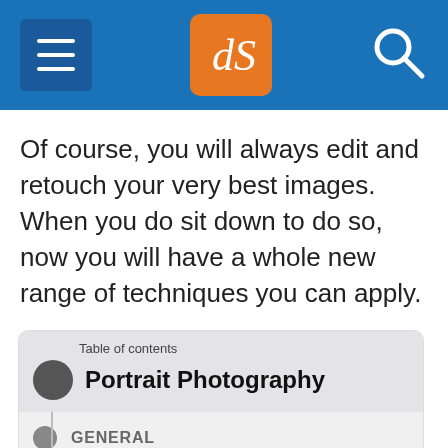dPS navigation header
Of course, you will always edit and retouch your very best images. When you do sit down to do so, now you will have a whole new range of techniques you can apply.
Portrait Photography
GENERAL
15 Common Portrait Mistakes to Avoid